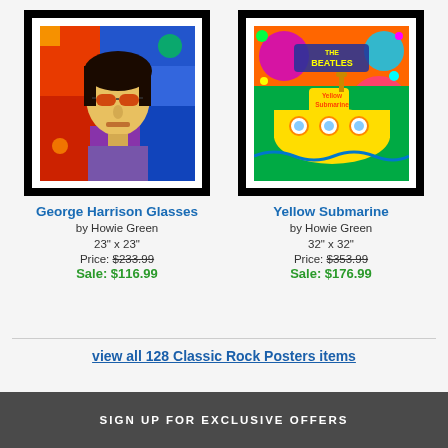[Figure (photo): Framed colorful pop-art portrait painting of George Harrison wearing glasses]
George Harrison Glasses
by Howie Green
23" x 23"
Price: $233.99
Sale: $116.99
[Figure (photo): Framed colorful pop-art Yellow Submarine Beatles album artwork]
Yellow Submarine
by Howie Green
32" x 32"
Price: $353.99
Sale: $176.99
view all 128 Classic Rock Posters items
SIGN UP FOR EXCLUSIVE OFFERS